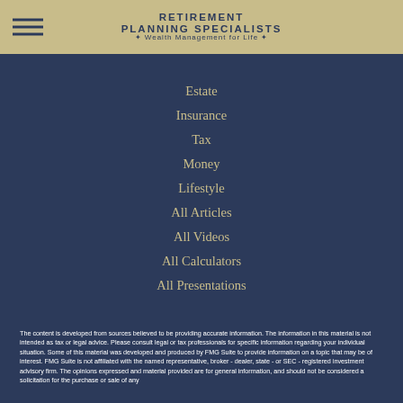[Figure (logo): Retirement Planning Specialists — Wealth Management for Life logo with hamburger menu icon on gold/tan background]
Estate
Insurance
Tax
Money
Lifestyle
All Articles
All Videos
All Calculators
All Presentations
The content is developed from sources believed to be providing accurate information. The information in this material is not intended as tax or legal advice. Please consult legal or tax professionals for specific information regarding your individual situation. Some of this material was developed and produced by FMG Suite to provide information on a topic that may be of interest. FMG Suite is not affiliated with the named representative, broker - dealer, state - or SEC - registered investment advisory firm. The opinions expressed and material provided are for general information, and should not be considered a solicitation for the purchase or sale of any